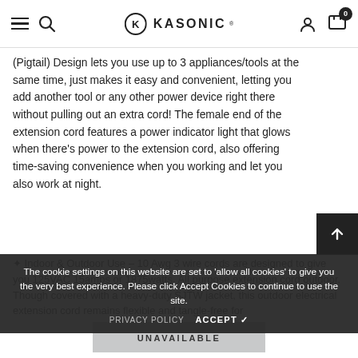Kasonic - navigation bar with menu, search, logo, account, cart (0)
(Pigtail) Design lets you use up to 3 appliances/tools at the same time, just makes it easy and convenient, letting you add another tool or any other power device right there without pulling out an extra cord! The female end of the extension cord features a power indicator light that glows when there's power to the extension cord, also offering time-saving convenience when you working and let you also work at night.
Indoor & Outdoor Use – 10 Awg 3 wire cords are designed to give you 125VAC 15amps or 1875watts. All purpose extension cord outdoor. Though covered with a heavy-duty SJTW jacket, this outdoor electrical extension cord remains flexible and tangle-free for
The cookie settings on this website are set to 'allow all cookies' to give you the very best experience. Please click Accept Cookies to continue to use the site.
PRIVACY POLICY   ACCEPT ✓
UNAVAILABLE